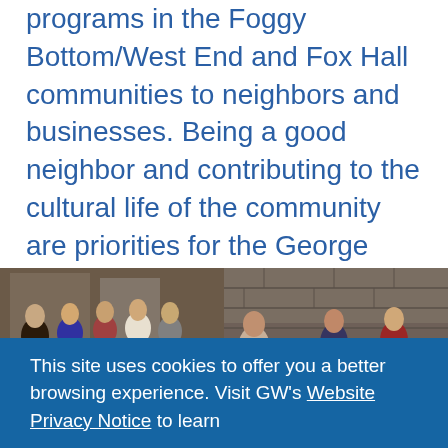programs in the Foggy Bottom/West End and Fox Hall communities to neighbors and businesses. Being a good neighbor and contributing to the cultural life of the community are priorities for the George Washington University. By offering these opportunities to our neighbors, GW is committed to enriching the lives of Foggy Bottom/West End and Fox Hall residents. We hope to see you at one of these events.
[Figure (photo): Two side-by-side photographs showing groups of people at community events. Left photo shows several people standing and conversing in what appears to be an indoor venue. Right photo shows people gathered around a table, appearing to look at materials together.]
This site uses cookies to offer you a better browsing experience. Visit GW's Website Privacy Notice to learn